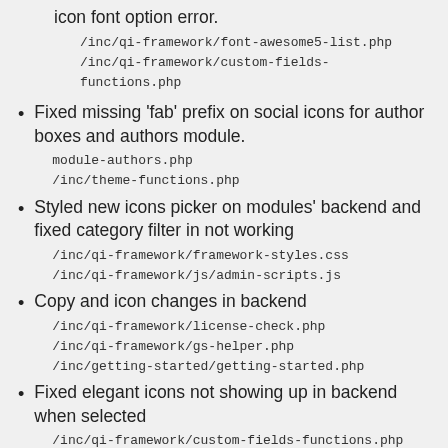icon font option error.
/inc/qi-framework/font-awesome5-list.php
/inc/qi-framework/custom-fields-functions.php
Fixed missing 'fab' prefix on social icons for author boxes and authors module.
module-authors.php
/inc/theme-functions.php
Styled new icons picker on modules' backend and fixed category filter in not working
/inc/qi-framework/framework-styles.css
/inc/qi-framework/js/admin-scripts.js
Copy and icon changes in backend
/inc/qi-framework/license-check.php
/inc/qi-framework/gs-helper.php
/inc/getting-started/getting-started.php
Fixed elegant icons not showing up in backend when selected
/inc/qi-framework/custom-fields-functions.php